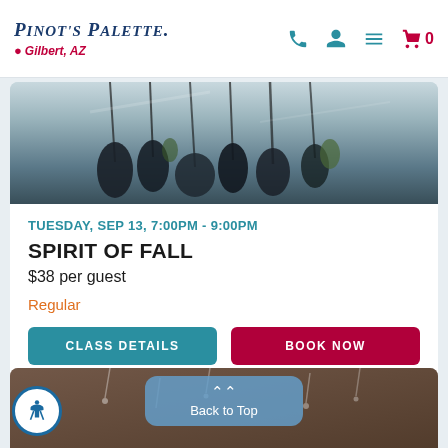PINOT'S PALETTE. Gilbert, AZ
[Figure (photo): Abstract painting with dark dripping paint shapes on light background]
TUESDAY, SEP 13, 7:00PM - 9:00PM
SPIRIT OF FALL
$38 per guest
Regular
CLASS DETAILS
BOOK NOW
[Figure (photo): Second event image partially visible at bottom, with Back to Top overlay button]